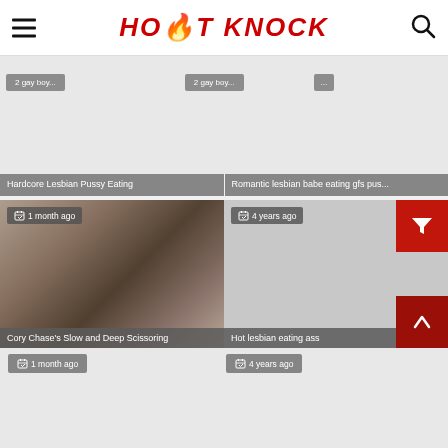HOT KNOCK
[Figure (screenshot): Website header with hamburger menu, HOT KNOCK logo in red italic bold, and search icon]
[Figure (screenshot): Partial video thumbnail cards row with tag pills partially visible at top]
Hardcore Lesbian Pussy Eating
Romantic lesbian babe eating gfs pus...
[Figure (photo): Video thumbnail showing two women kissing, labeled Cory Chase's Slow and Deep Scissoring, 1 month ago]
[Figure (screenshot): Gray thumbnail placeholder for Hot lesbian eating ass video, 4 years ago, 06:16 duration]
Cory Chase's Slow and Deep Scissoring
Hot lesbian eating ass
1 month ago
4 years ago
1 month ago
4 years ago